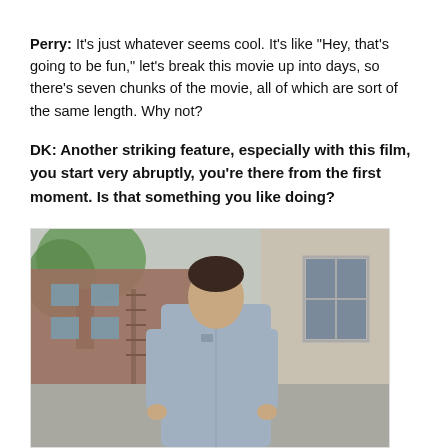Perry: It's just whatever seems cool. It's like "Hey, that's going to be fun," let's break this movie up into days, so there's seven chunks of the movie, all of which are sort of the same length. Why not?
DK: Another striking feature, especially with this film, you start very abruptly, you're there from the first moment. Is that something you like doing?
[Figure (photo): A young man with dark hair wearing a light blue button-up shirt standing outdoors near a building wall with a window visible to the right and trees and brick buildings in the background.]